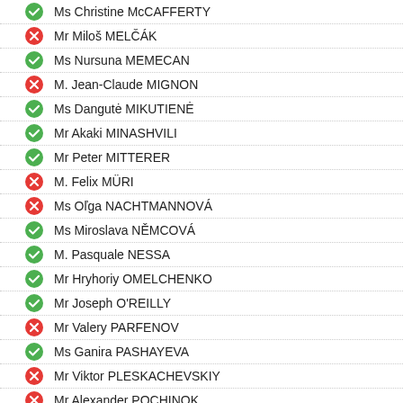Ms Christine McCAFFERTY
Mr Miloš MELČÁK
Ms Nursuna MEMECAN
M. Jean-Claude MIGNON
Ms Dangutė MIKUTIENĖ
Mr Akaki MINASHVILI
Mr Peter MITTERER
M. Felix MÜRI
Ms Oľga NACHTMANNOVÁ
Ms Miroslava NĚMCOVÁ
M. Pasquale NESSA
Mr Hryhoriy OMELCHENKO
Mr Joseph O'REILLY
Mr Valery PARFENOV
Ms Ganira PASHAYEVA
Mr Viktor PLESKACHEVSKIY
Mr Alexander POCHINOK